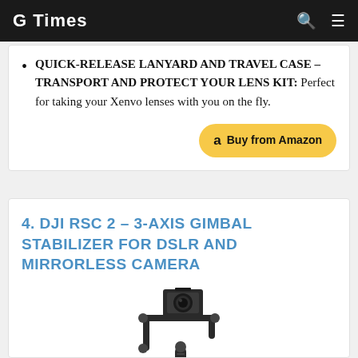G Times
QUICK-RELEASE LANYARD AND TRAVEL CASE – TRANSPORT AND PROTECT YOUR LENS KIT: Perfect for taking your Xenvo lenses with you on the fly.
4. DJI RSC 2 – 3-AXIS GIMBAL STABILIZER FOR DSLR AND MIRRORLESS CAMERA
[Figure (photo): DJI RSC 2 gimbal stabilizer product photo showing a 3-axis camera gimbal stabilizer with a DSLR/mirrorless camera mounted on it]